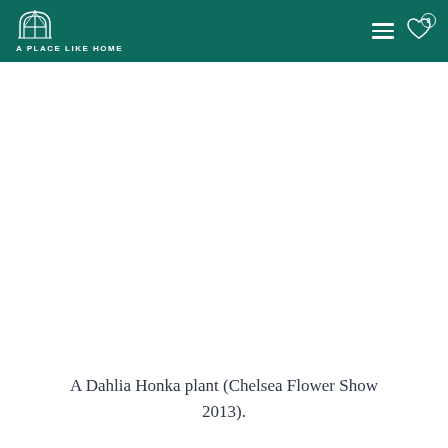A PLACE LIKE HOME
A Dahlia Honka plant (Chelsea Flower Show 2013).